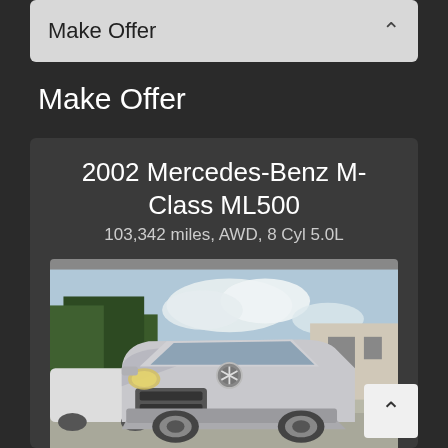Make Offer
Make Offer
2002 Mercedes-Benz M-Class ML500
103,342 miles, AWD, 8 Cyl 5.0L
[Figure (photo): Front view of a silver 2002 Mercedes-Benz M-Class ML500 SUV parked in a lot, with trees and a building visible in the background. Other vehicles visible to the left.]